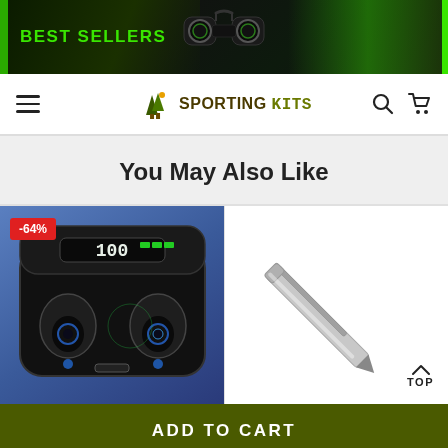[Figure (photo): Best Sellers banner with binoculars image on dark/green gradient background]
SPORTING KITS — navigation bar with hamburger menu, logo, search and cart icons
You May Also Like
[Figure (photo): Wireless earbuds in charging case showing 100% battery, with -64% discount badge]
[Figure (photo): Silver stylus pen on white background]
TOP